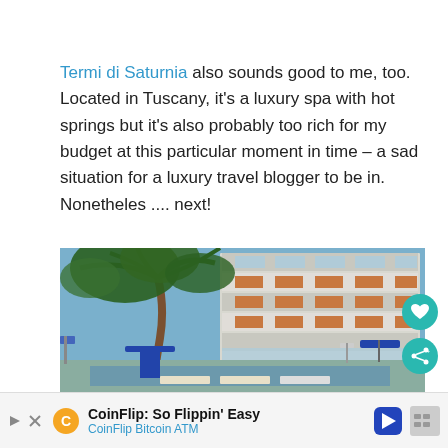Termi di Saturnia also sounds good to me, too. Located in Tuscany, it's a luxury spa with hot springs but it's also probably too rich for my budget at this particular moment in time – a sad situation for a luxury travel blogger to be in. Nonetheles .... next!
[Figure (photo): Hotel building with large palm tree in foreground and pool area with blue umbrellas and lounge chairs visible below.]
CoinFlip: So Flippin' Easy
CoinFlip Bitcoin ATM